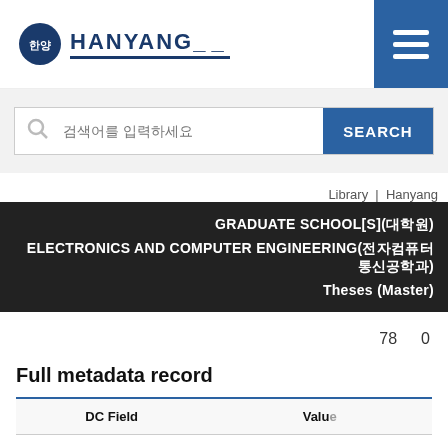[Figure (logo): Hanyang University logo with circular emblem and bold HANYANG text with underscores]
[Figure (other): Hamburger menu button (three horizontal white lines on blue background)]
검색어를 입력하세요 (Search input placeholder)
SEARCH
Library  |  Hanyang
GRADUATE SCHOOL[S](대학원)
ELECTRONICS AND COMPUTER ENGINEERING(전자컴퓨터통신공학과)
Theses (Master)
78   0
Full metadata record
| DC Field | Value |
| --- | --- |
| dc.contributor.advisor | Jaehoon Choi |